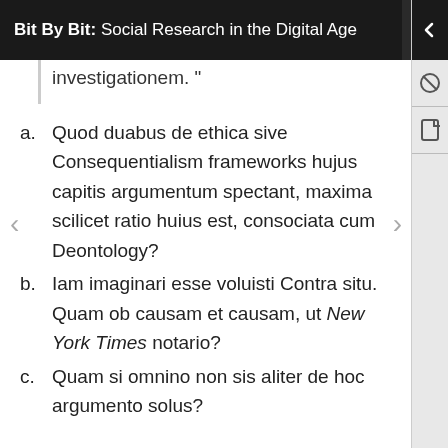Bit By Bit: Social Research in the Digital Age
investigationem. "
a. Quod duabus de ethica sive Consequentialism frameworks hujus capitis argumentum spectant, maxima scilicet ratio huius est, consociata cum Deontology?
b. Iam imaginari esse voluisti Contra situ. Quam ob causam et causam, ut New York Times notario?
c. Quam si omnino non sis aliter de hoc argumento solus?